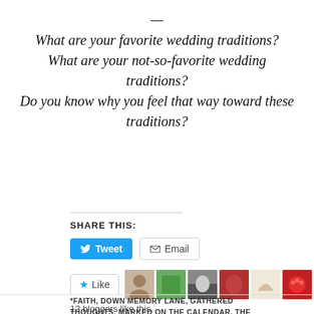— What are your favorite wedding traditions? What are your not-so-favorite wedding traditions? Do you know why you feel that way toward these traditions?
SHARE THIS:
[Figure (screenshot): Tweet and Email share buttons, followed by a Like button with 6 blogger avatar thumbnails and '12 bloggers like this.' text]
*FAITH, DOWN MEMORY LANE, GATHERED THOUGHTS, MARKED ON THE CALENDAR, THE